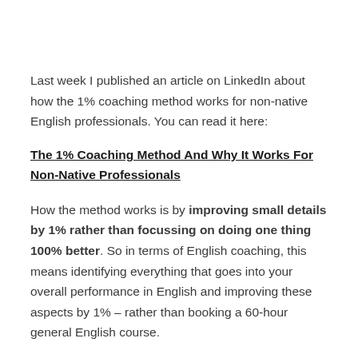Last week I published an article on LinkedIn about how the 1% coaching method works for non-native English professionals. You can read it here:
The 1% Coaching Method And Why It Works For Non-Native Professionals
How the method works is by improving small details by 1% rather than focussing on doing one thing 100% better. So in terms of English coaching, this means identifying everything that goes into your overall performance in English and improving these aspects by 1% – rather than booking a 60-hour general English course.